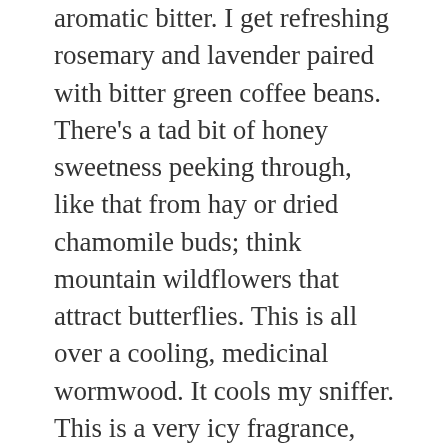aromatic bitter. I get refreshing rosemary and lavender paired with bitter green coffee beans. There’s a tad bit of honey sweetness peeking through, like that from hay or dried chamomile buds; think mountain wildflowers that attract butterflies. This is all over a cooling, medicinal wormwood. It cools my sniffer. This is a very icy fragrance, but not completely aquatic. It reminds me of ice glazed over fresh sprouts and young grasses. There’s a greenness to the coolness. I also get the moss, but this moss isn’t dry. It’s damp and wet oakmoss, like from a forest valley, damp...